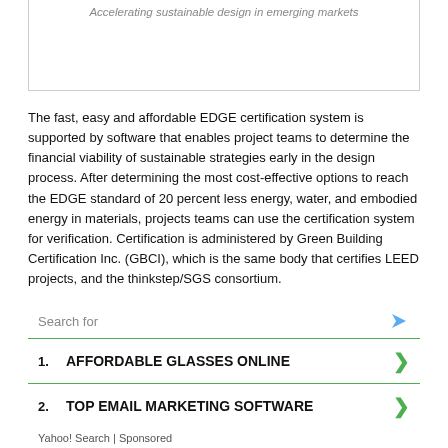Accelerating sustainable design in emerging markets
The fast, easy and affordable EDGE certification system is supported by software that enables project teams to determine the financial viability of sustainable strategies early in the design process. After determining the most cost-effective options to reach the EDGE standard of 20 percent less energy, water, and embodied energy in materials, projects teams can use the certification system for verification. Certification is administered by Green Building Certification Inc. (GBCI), which is the same body that certifies LEED projects, and the thinkstep/SGS consortium.
HOK has committed to using the EDGE software and exploring the potential for certification on at least five projects in emerging markets over the agreement's first year. One of these projects will be the 2.3-milllion-sq.-ft., mixed-use World Trade Center being developed by Bengaluru-based
[Figure (other): Advertisement box with search label, two sponsored search results: 1. AFFORDABLE GLASSES ONLINE, 2. TOP EMAIL MARKETING SOFTWARE, with Yahoo! Search | Sponsored footer]